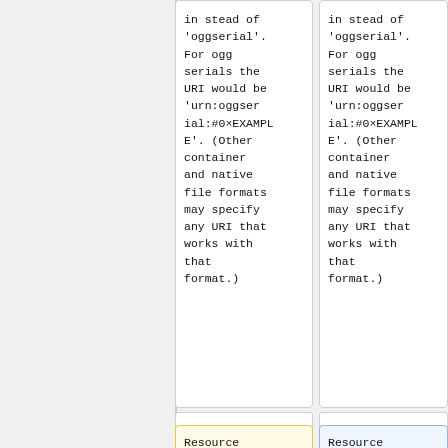in stead of 'oggserial'. For ogg serials the URI would be 'urn:oggserial:#0xEXAMPLE'. (Other container and native file formats may specify any URI that works with that format.)
in stead of 'oggserial'. For ogg serials the URI would be 'urn:oggserial:#0xEXAMPLE'. (Other container and native file formats may specify any URI that works with that format.)
Resource elements can also have an
Resource elements can also have an